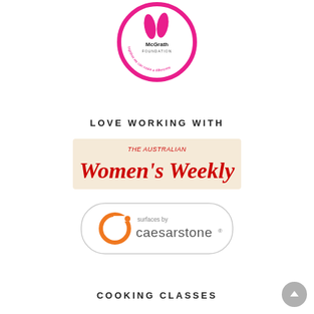[Figure (logo): McGrath Foundation circular logo with pink ribbon and text 'together we can make a difference']
LOVE WORKING WITH
[Figure (logo): The Australian Women's Weekly magazine logo on beige/cream background with large red bold italic text]
[Figure (logo): Caesarstone 'surfaces by caesarstone' logo in orange and grey with circular C icon, inside rounded rectangle outline border]
COOKING CLASSES